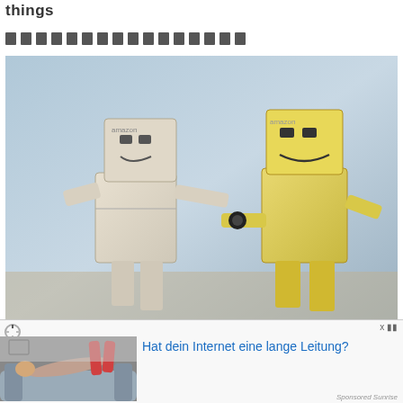things
[redacted/blocked text]
[Figure (photo): Two Danbo cardboard box robot figurines facing each other, one white and one yellow, appearing to have a conversation or interaction. Amazon smile logos visible on the boxes. Blurred blue background.]
[Figure (photo): Advertisement thumbnail showing a person lying on a gray couch with legs up against the wall, wearing red shorts.]
Hat dein Internet eine lange Leitung?
Sponsored Sunrise